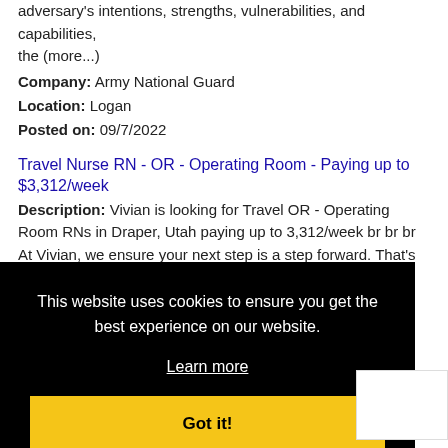adversary's intentions, strengths, vulnerabilities, and capabilities, the (more...)
Company: Army National Guard
Location: Logan
Posted on: 09/7/2022
Travel Nurse RN - OR - Operating Room - Paying up to $3,312/week
Description: Vivian is looking for Travel OR - Operating Room RNs in Draper, Utah paying up to 3,312/week br br br At Vivian, we ensure your next step is a step forward. That's
Company: Vivian Health
Location: Draper
This website uses cookies to ensure you get the best experience on our website. Learn more Got it!